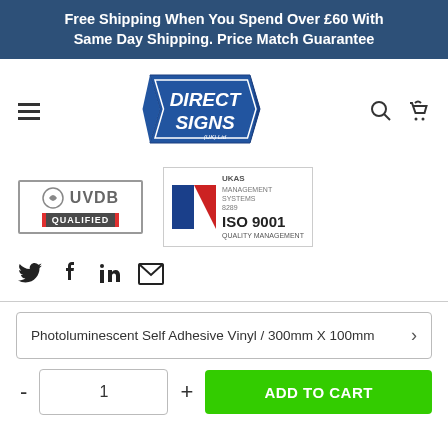Free Shipping When You Spend Over £60 With Same Day Shipping. Price Match Guarantee
[Figure (logo): Direct Signs (UK) Ltd logo - blue shield/arrow shape with white bold text]
[Figure (logo): UVDB Qualified certification badge]
[Figure (logo): UKAS Management Systems ISO 9001 Quality Management certification badge]
[Figure (infographic): Social media icons: Twitter, Facebook, LinkedIn, Email]
Photoluminescent Self Adhesive Vinyl / 300mm X 100mm
1
ADD TO CART